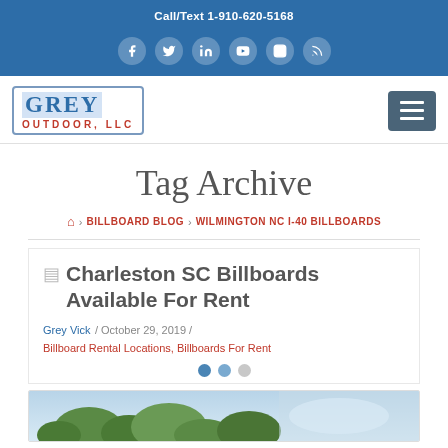Call/Text 1-910-620-5168
[Figure (other): Social media icons: Facebook, Twitter, LinkedIn, YouTube, Instagram, RSS feed — on blue background]
[Figure (logo): Grey Outdoor LLC company logo with blue border]
Tag Archive
Home > BILLBOARD BLOG > WILMINGTON NC I-40 BILLBOARDS
Charleston SC Billboards Available For Rent
Grey Vick / October 29, 2019 / Billboard Rental Locations, Billboards For Rent
[Figure (photo): Partial outdoor photo showing trees and sky — featured image for blog post]